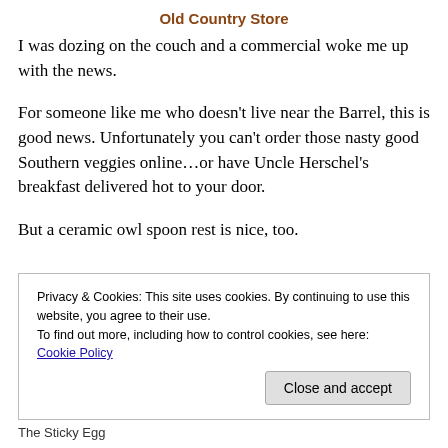Old Country Store
I was dozing on the couch and a commercial woke me up with the news.
For someone like me who doesn't live near the Barrel, this is good news. Unfortunately you can't order those nasty good Southern veggies online…or have Uncle Herschel's breakfast delivered hot to your door.
But a ceramic owl spoon rest is nice, too.
Privacy & Cookies: This site uses cookies. By continuing to use this website, you agree to their use.
To find out more, including how to control cookies, see here: Cookie Policy
The Sticky Egg